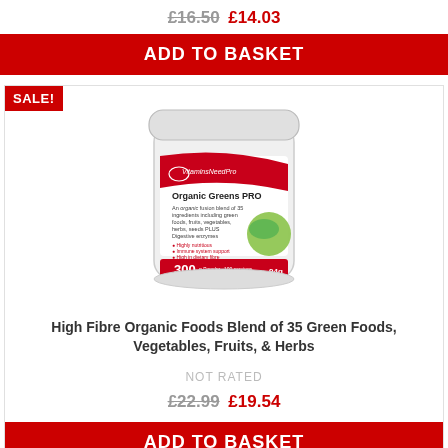£16.50 £14.03
ADD TO BASKET
SALE!
[Figure (photo): Product photo of Organic Greens PRO 300g powder tub by VitaminsNeedPro]
High Fibre Organic Foods Blend of 35 Green Foods, Vegetables, Fruits, & Herbs
NOT RATED
£22.99 £19.54
ADD TO BASKET